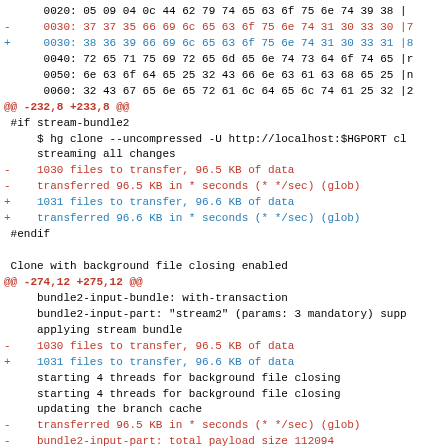Code diff / patch output showing hex dump and diff context lines for a Mercurial test, including stream-bundle2 and background file closing sections.